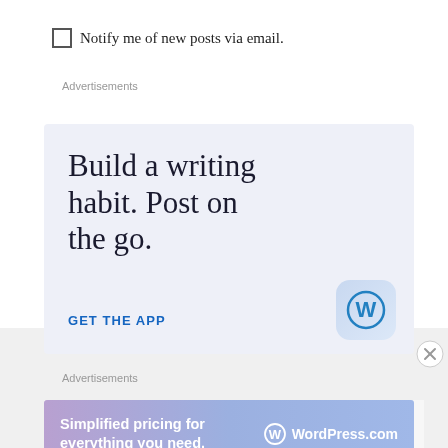Notify me of new posts via email.
Advertisements
[Figure (screenshot): WordPress app advertisement: 'Build a writing habit. Post on the go.' with 'GET THE APP' CTA and WordPress app icon]
Advertisements
[Figure (screenshot): WordPress.com banner ad: 'Simplified pricing for everything you need.' with WordPress.com branding]